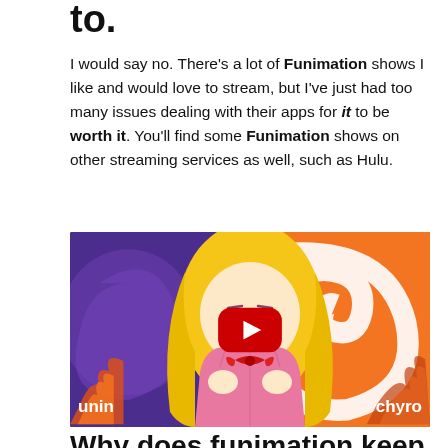to.
I would say no. There's a lot of Funimation shows I like and would love to stream, but I've just had too many issues dealing with their apps for it to be worth it. You'll find some Funimation shows on other streaming services as well, such as Hulu.
[Figure (screenshot): YouTube video thumbnail showing an anime girl character with blonde hair wearing a pink outfit, set against a split background of purple (Funimation) and orange (Crunchyroll), with a YouTube play button overlay. Text labels 'unin' and 'chyro' visible at bottom corners.]
Why does funimation keep